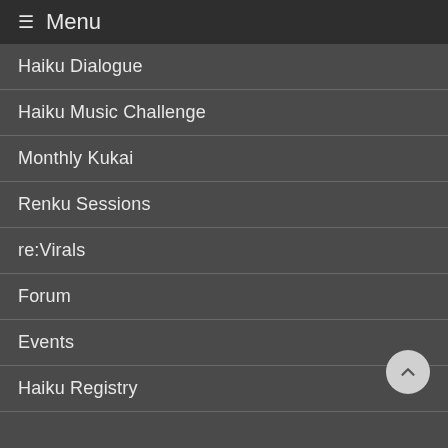≡ Menu
Haiku Dialogue
Haiku Music Challenge
Monthly Kukai
Renku Sessions
re:Virals
Forum
Events
Haiku Registry